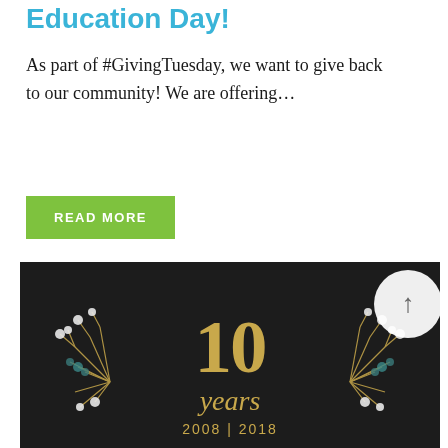Education Day!
As part of #GivingTuesday, we want to give back to our community! We are offering…
READ MORE
[Figure (photo): Anniversary graphic showing '10 years 2008 | 2018' text in gold on a dark background with floral botanical decorations, and a circular back-to-top button in the top right corner.]